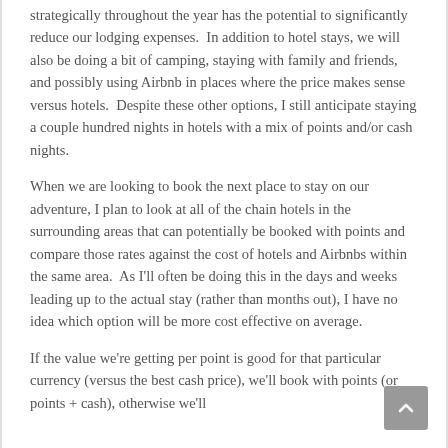strategically throughout the year has the potential to significantly reduce our lodging expenses.  In addition to hotel stays, we will also be doing a bit of camping, staying with family and friends, and possibly using Airbnb in places where the price makes sense versus hotels.  Despite these other options, I still anticipate staying a couple hundred nights in hotels with a mix of points and/or cash nights.
When we are looking to book the next place to stay on our adventure, I plan to look at all of the chain hotels in the surrounding areas that can potentially be booked with points and compare those rates against the cost of hotels and Airbnbs within the same area.  As I'll often be doing this in the days and weeks leading up to the actual stay (rather than months out), I have no idea which option will be more cost effective on average.
If the value we're getting per point is good for that particular currency (versus the best cash price), we'll book with points (or points + cash), otherwise we'll